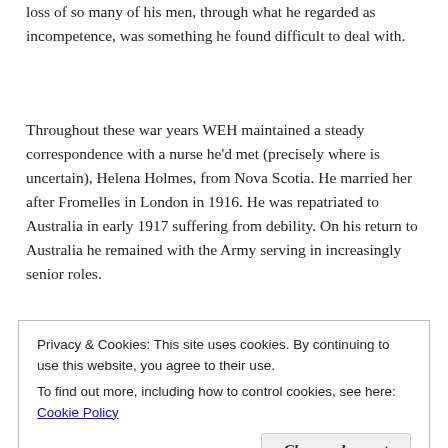loss of so many of his men, through what he regarded as incompetence, was something he found difficult to deal with.
Throughout these war years WEH maintained a steady correspondence with a nurse he'd met (precisely where is uncertain), Helena Holmes, from Nova Scotia. He married her after Fromelles in London in 1916. He was repatriated to Australia in early 1917 suffering from debility. On his return to Australia he remained with the Army serving in increasingly senior roles.
Privacy & Cookies: This site uses cookies. By continuing to use this website, you agree to their use. To find out more, including how to control cookies, see here: Cookie Policy
Close and accept
documents relating to his service at our National